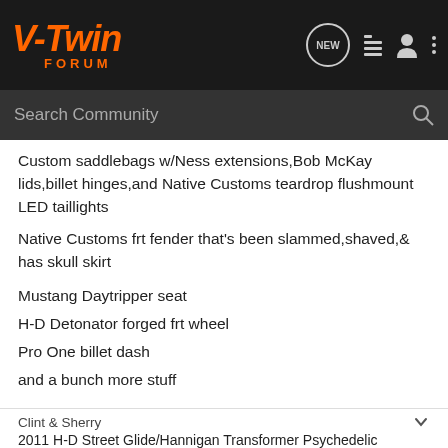V-Twin FORUM
Custom saddlebags w/Ness extensions,Bob McKay lids,billet hinges,and Native Customs teardrop flushmount LED taillights
Native Customs frt fender that's been slammed,shaved,& has skull skirt
Mustang Daytripper seat
H-D Detonator forged frt wheel
Pro One billet dash
and a bunch more stuff
Clint & Sherry
2011 H-D Street Glide/Hannigan Transformer Psychedelic
Clint59